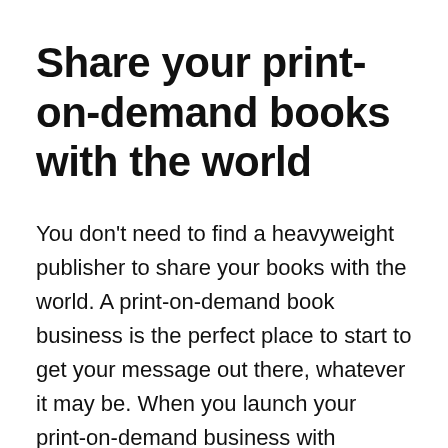Share your print-on-demand books with the world
You don't need to find a heavyweight publisher to share your books with the world. A print-on-demand book business is the perfect place to start to get your message out there, whatever it may be. When you launch your print-on-demand business with Shopify, you get access to thousands of apps to help power your business, as well as a top-notch customer